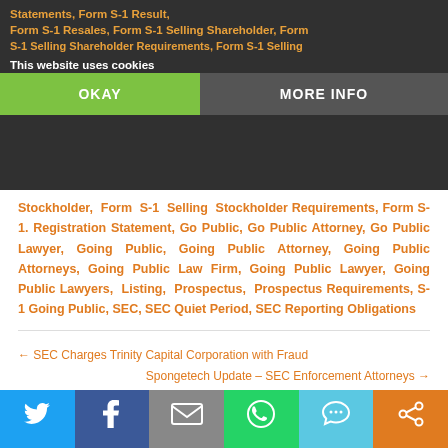This website uses cookies
Statements, Form S-1 Result, Form S-1 Resales, Form S-1 Selling Shareholder, Form S-1 Selling Shareholder Requirements, Form S-1 Selling Stockholder, Form S-1 Selling Stockholder Requirements, Form S-1. Registration Statement, Go Public, Go Public Attorney, Go Public Lawyer, Going Public, Going Public Attorney, Going Public Attorneys, Going Public Law Firm, Going Public Lawyer, Going Public Lawyers, Listing, Prospectus, Prospectus Requirements, S-1 Going Public, SEC, SEC Quiet Period, SEC Reporting Obligations
← SEC Charges Trinity Capital Corporation with Fraud
Spongetech Update – SEC Enforcement Attorneys →